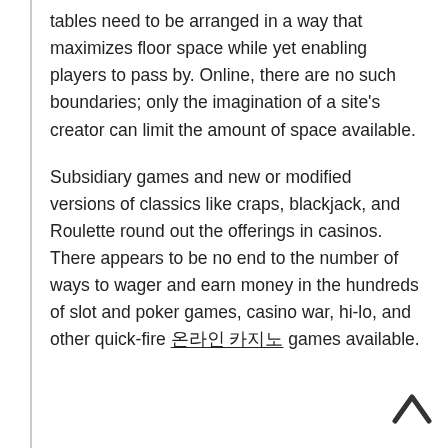tables need to be arranged in a way that maximizes floor space while yet enabling players to pass by. Online, there are no such boundaries; only the imagination of a site's creator can limit the amount of space available.
Subsidiary games and new or modified versions of classics like craps, blackjack, and Roulette round out the offerings in casinos. There appears to be no end to the number of ways to wager and earn money in the hundreds of slot and poker games, casino war, hi-lo, and other quick-fire 온라인 카지노 games available.